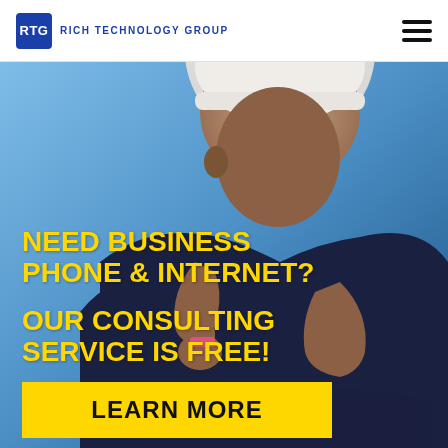RTG RICH TECHNOLOGY GROUP
[Figure (photo): Man in dark navy polo shirt in a thinking pose with hand on chin, against a blue background, overlaid with yellow text advertising business phone & internet consulting services]
NEED BUSINESS PHONE & INTERNET?
OUR CONSULTING SERVICE IS FREE!
LEARN MORE